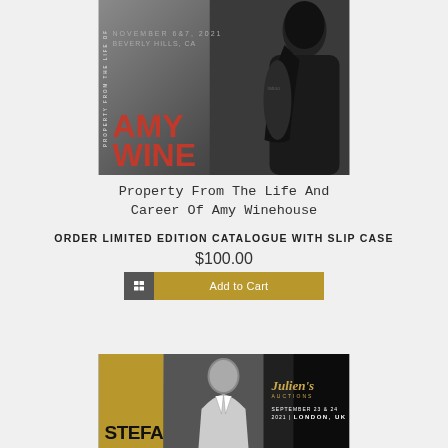[Figure (photo): Cover of auction catalogue 'Property From The Life Of Amy Winehouse', black and white photo of Amy Winehouse showing her tattooed arm, with red stylized text 'AMY WINE' and dates November 6&7, 2021, Beverly Hills, CA]
Property From The Life And Career Of Amy Winehouse
ORDER LIMITED EDITION CATALOGUE WITH SLIP CASE
$100.00
Add to Cart
[Figure (photo): Cover of Julien's Auctions catalogue featuring 'Stefano', showing a black and white photo of a man with gold left panel and Julien's Auctions logo. September 23 & 24, 2021, London, UK]